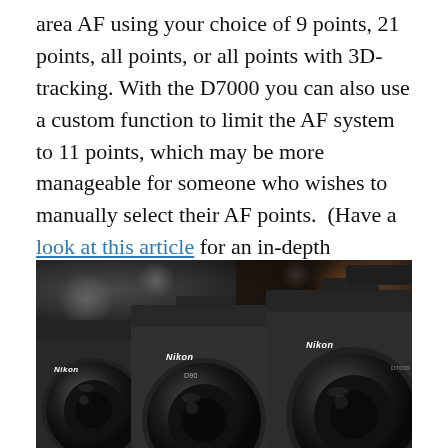area AF using your choice of 9 points, 21 points, all points, or all points with 3D-tracking. With the D7000 you can also use a custom function to limit the AF system to 11 points, which may be more manageable for someone who wishes to manually select their AF points.  (Have a look at this article for an in-depth explanation of the D7000 AF system and its capabilities)
[Figure (photo): Three Nikon DSLR cameras lined up side by side, showing their front lenses and body details including Nikon branding, on a dark blurred background.]